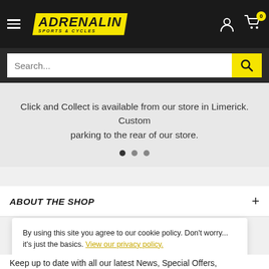[Figure (screenshot): Adrenalin store website header with dark background, hamburger menu, Adrenalin logo in yellow, user account icon, and shopping cart icon with badge showing 0]
[Figure (screenshot): Search bar with white input field showing placeholder 'Search...' and yellow search button with magnifying glass icon]
Click and Collect is available from our store in Limerick. Customer parking to the rear of our store.
ABOUT THE SHOP
By using this site you agree to our cookie policy. Don't worry... it's just the basics. View our privacy policy.
Keep up to date with all our latest News, Special Offers,